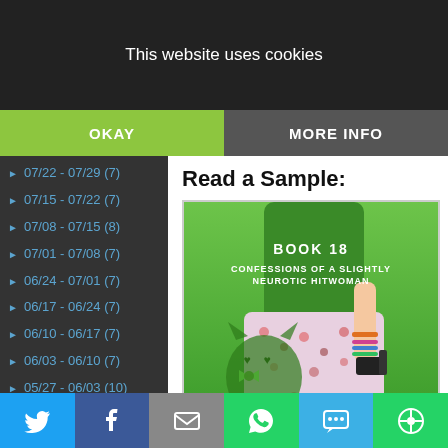This website uses cookies
OKAY
MORE INFO
07/22 - 07/29 (7)
07/15 - 07/22 (7)
07/08 - 07/15 (8)
07/01 - 07/08 (7)
06/24 - 07/01 (7)
06/17 - 06/24 (7)
06/10 - 06/17 (7)
06/03 - 06/10 (7)
05/27 - 06/03 (10)
05/20 - 05/27 (8)
05/13 - 05/20 (8)
Now Available: Hitwoman in a
Read a Sample:
[Figure (illustration): Book cover: BOOK 18 - CONFESSIONS OF A SLIGHTLY NEUROTIC HITWOMAN, green background with a woman in a green top and floral skirt holding a gun, with a cat silhouette with a bow tie and heart eyes]
Share icons: Twitter, Facebook, Email, WhatsApp, SMS, Other